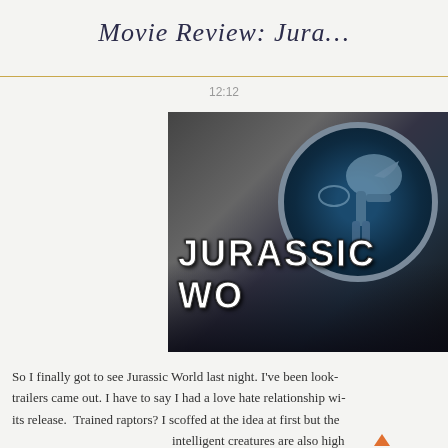Movie Review: Jura…
12:12
[Figure (photo): Jurassic World movie logo with dinosaur skeleton in blue circular emblem and stylized text 'JURASSIC WO[RLD]' on metallic background]
So I finally got to see Jurassic World last night. I've been look- trailers came out. I have to say I had a love hate relationship wi- its release. Trained raptors? I scoffed at the idea at first but the intelligent creatures are also high…